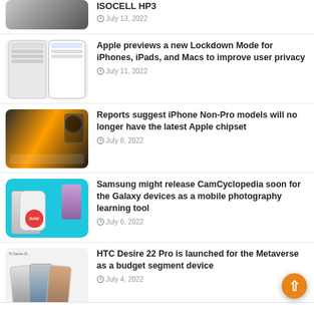[Figure (photo): Partial top article thumbnail - Samsung ISOCELL HP3 phone]
ISOCELL HP3
July 13, 2022
[Figure (photo): Two iPhones showing Lockdown Mode screens]
Apple previews a new Lockdown Mode for iPhones, iPads, and Macs to improve user privacy
July 11, 2022
[Figure (photo): iPhone Non-Pro model render showing home screen]
Reports suggest iPhone Non-Pro models will no longer have the latest Apple chipset
July 8, 2022
[Figure (photo): Samsung Galaxy phone with RAW camera app icon on cyan background]
Samsung might release CamCyclopedia soon for the Galaxy devices as a mobile photography learning tool
July 6, 2022
[Figure (photo): HTC Desire 22 Pro phones in multiple colors]
HTC Desire 22 Pro is launched for the Metaverse as a budget segment device
July 4, 2022